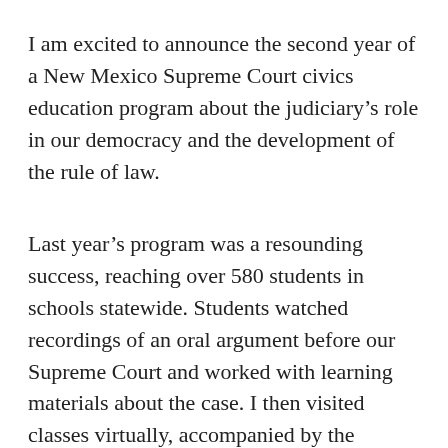I am excited to announce the second year of a New Mexico Supreme Court civics education program about the judiciary's role in our democracy and the development of the rule of law.
Last year's program was a resounding success, reaching over 580 students in schools statewide. Students watched recordings of an oral argument before our Supreme Court and worked with learning materials about the case. I then visited classes virtually, accompanied by the prosecution and defense attorneys, to discuss